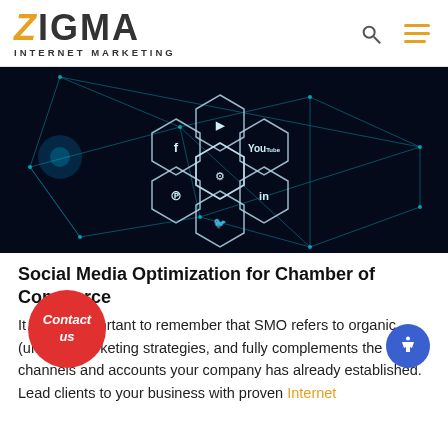ZIGMA INTERNET MARKETING
[Figure (illustration): Social media hexagonal icons (Facebook, YouTube, Pinterest, LinkedIn, Twitter, settings/gear) on a dark blue network background with glowing teal connection lines]
Social Media Optimization for Chamber of Commerce
It is also important to remember that SMO refers to organic (unpaid) marketing strategies, and fully complements the channels and accounts your company has already established. Lead clients to your business with proven Internet
Contact us